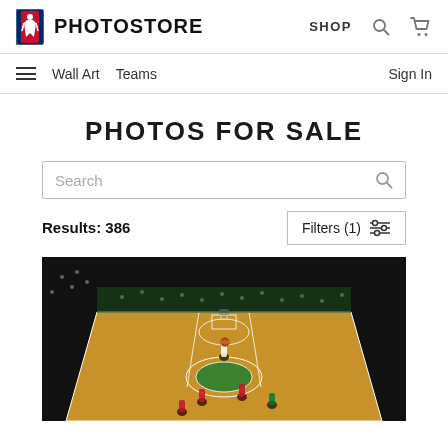NBA PHOTOSTORE | SHOP
Wall Art  Teams  Sign In
PHOTOS FOR SALE
Search
Results: 386
Filters (1)
[Figure (photo): NBA basketball game aerial view of court at TD Garden (Boston Celtics home arena), packed crowd in stands, players on court mid-game]